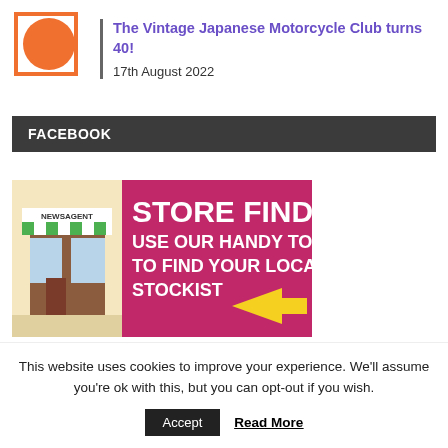[Figure (logo): Orange circle with orange square border logo - Vintage Japanese Motorcycle Club]
The Vintage Japanese Motorcycle Club turns 40!
17th August 2022
FACEBOOK
[Figure (infographic): Store Finder banner - pink background with illustrated newsagent shop. Text: STORE FINDER USE OUR HANDY TOOL TO FIND YOUR LOCAL STOCKIST with yellow arrow pointing right.]
This website uses cookies to improve your experience. We'll assume you're ok with this, but you can opt-out if you wish.
Accept   Read More